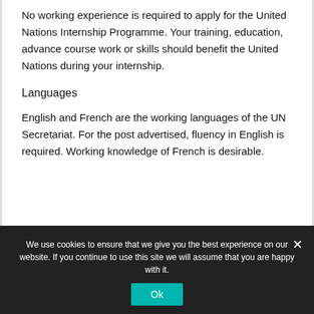No working experience is required to apply for the United Nations Internship Programme. Your training, education, advance course work or skills should benefit the United Nations during your internship.
Languages
English and French are the working languages of the UN Secretariat. For the post advertised, fluency in English is required. Working knowledge of French is desirable.
We use cookies to ensure that we give you the best experience on our website. If you continue to use this site we will assume that you are happy with it.